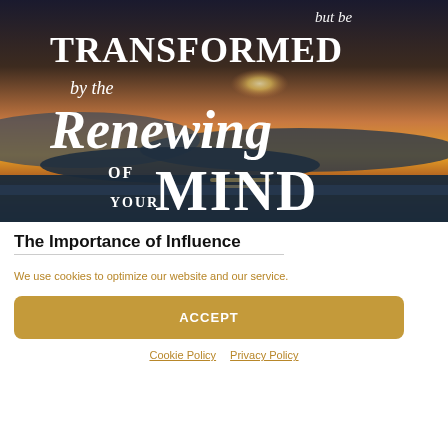[Figure (illustration): Inspirational quote image with sunset/sky background. Text overlay reads: '...but be TRANSFORMED by the Renewing OF YOUR MIND' in white serif and display fonts over a dramatic sunset sky with clouds and water reflection.]
The Importance of Influence
We use cookies to optimize our website and our service.
ACCEPT
Cookie Policy   Privacy Policy